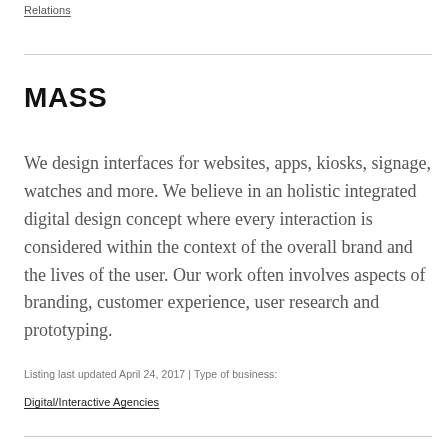Relations
MASS
We design interfaces for websites, apps, kiosks, signage, watches and more. We believe in an holistic integrated digital design concept where every interaction is considered within the context of the overall brand and the lives of the user. Our work often involves aspects of branding, customer experience, user research and prototyping.
Listing last updated April 24, 2017 | Type of business:
Digital/Interactive Agencies